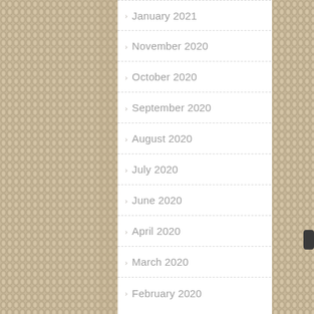[Figure (photo): Knit/wool textured background in beige/tan color visible on left and right sides of the page, framing a white content panel with a navigation list of months.]
January 2021
November 2020
October 2020
September 2020
August 2020
July 2020
June 2020
April 2020
March 2020
February 2020